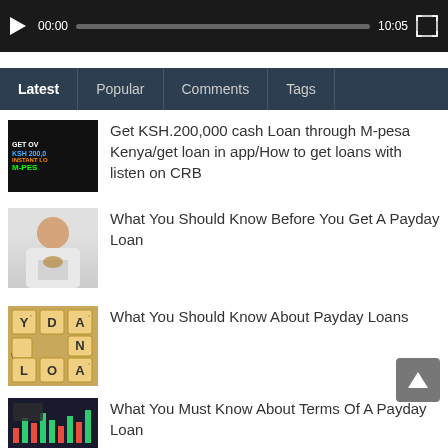[Figure (screenshot): Video player bar with play button, time 00:00 / 10:05, progress bar, and fullscreen icon]
[Figure (screenshot): Tab navigation bar with Latest (active), Popular, Comments, Tags]
[Figure (screenshot): Thumbnail image for M-Pesa Kenya loan article]
Get KSH.200,000 cash Loan through M-pesa Kenya/get loan in app/How to get loans with listen on CRB
[Figure (screenshot): Thumbnail image of person holding money]
What You Should Know Before You Get A Payday Loan
[Figure (screenshot): Thumbnail of Scrabble tiles spelling LOAN]
What You Should Know About Payday Loans
[Figure (screenshot): Thumbnail of laptop/phone with trading charts]
What You Must Know About Terms Of A Payday Loan